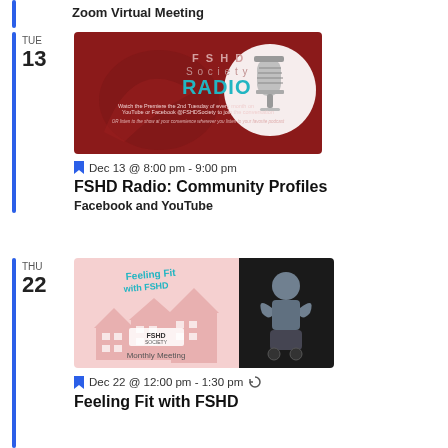Zoom Virtual Meeting
[Figure (illustration): FSHD Society Radio banner with dark red background, radio microphone image, text 'FSHD Society RADIO' and 'Watch the Premiere the 2nd Tuesday of every month on YouTube or Facebook @FSHDSociety to join the conversation. OR listen to the show at your convenience wherever you listen to your favorite podcast']
Dec 13 @ 8:00 pm - 9:00 pm
FSHD Radio: Community Profiles
Facebook and YouTube
[Figure (illustration): Feeling Fit with FSHD Monthly Meeting banner — pink illustrated houses on the left and a photo of a man flexing his arm on the right]
Dec 22 @ 12:00 pm - 1:30 pm
Feeling Fit with FSHD